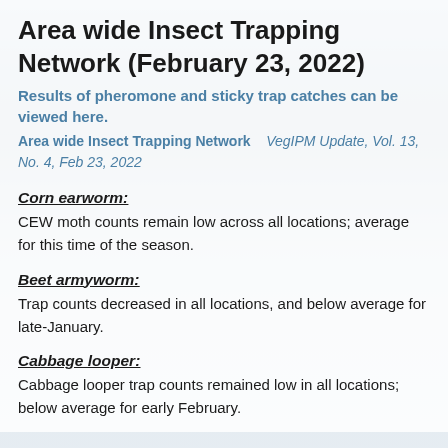Area wide Insect Trapping Network (February 23, 2022)
Results of pheromone and sticky trap catches can be viewed here.
Area wide Insect Trapping Network   VegIPM Update, Vol. 13, No. 4, Feb 23, 2022
Corn earworm:
CEW moth counts remain low across all locations; average for this time of the season.
Beet armyworm:
Trap counts decreased in all locations, and below average for late-January.
Cabbage looper:
Cabbage looper trap counts remained low in all locations; below average for early February.